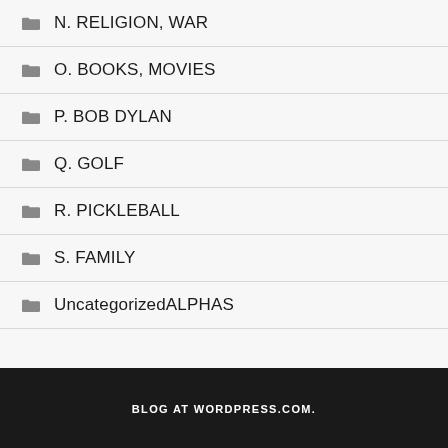N. RELIGION, WAR
O. BOOKS, MOVIES
P. BOB DYLAN
Q. GOLF
R. PICKLEBALL
S. FAMILY
UncategorizedALPHAS
BLOG AT WORDPRESS.COM.